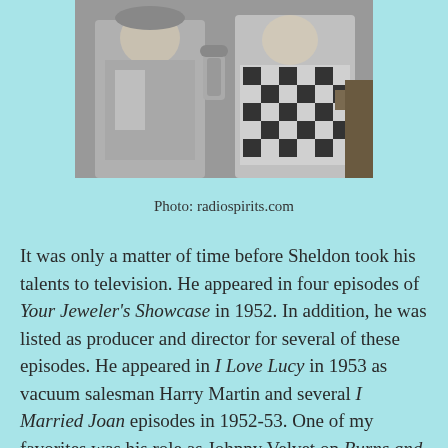[Figure (photo): Black and white photograph of two people, partially visible at the top of the page, one wearing a checkered/plaid shirt]
Photo: radiospirits.com
It was only a matter of time before Sheldon took his talents to television. He appeared in four episodes of Your Jeweler's Showcase in 1952. In addition, he was listed as producer and director for several of these episodes. He appeared in I Love Lucy in 1953 as vacuum salesman Harry Martin and several I Married Joan episodes in 1952-53. One of my favorites was his role as Johnny Velvet on Burns and Allen when he kidnaps Gracie but takes her back because she drives him crazy. In 1954 he co-starred in The Duke which lasted 13